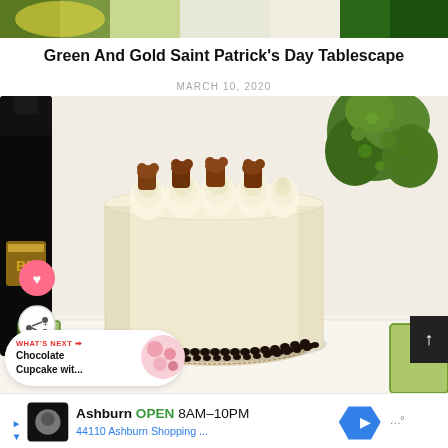[Figure (photo): Top strip showing a green and gold Saint Patrick's Day tablescape setting]
Green And Gold Saint Patrick's Day Tablescape
MARCH 10, 2020
[Figure (photo): A round cake with ivory frosting, chocolate bear candies on top, surrounded by chocolate chips at the base, with a Baileys bottle on the left, green glasses, and a green plant on the right. A 'What's Next' card shows Chocolate Cupcake wit... A dark up-arrow button is on the right edge.]
WHAT'S NEXT → Chocolate Cupcake wit...
Ashburn OPEN 8AM–10PM 44110 Ashburn Shopping ...